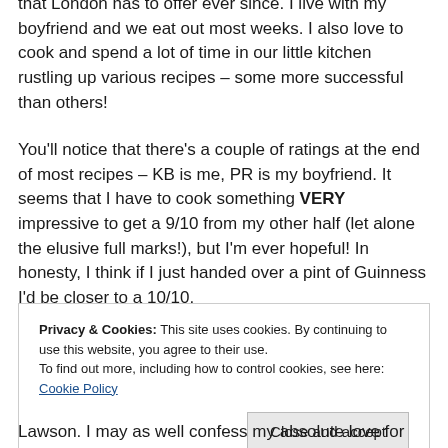that London has to offer ever since. I live with my boyfriend and we eat out most weeks. I also love to cook and spend a lot of time in our little kitchen rustling up various recipes – some more successful than others!
You'll notice that there's a couple of ratings at the end of most recipes – KB is me, PR is my boyfriend. It seems that I have to cook something VERY impressive to get a 9/10 from my other half (let alone the elusive full marks!), but I'm ever hopeful! In honesty, I think if I just handed over a pint of Guinness I'd be closer to a 10/10.
Privacy & Cookies: This site uses cookies. By continuing to use this website, you agree to their use. To find out more, including how to control cookies, see here: Cookie Policy
Close and accept
Lawson. I may as well confess my absolute love for her